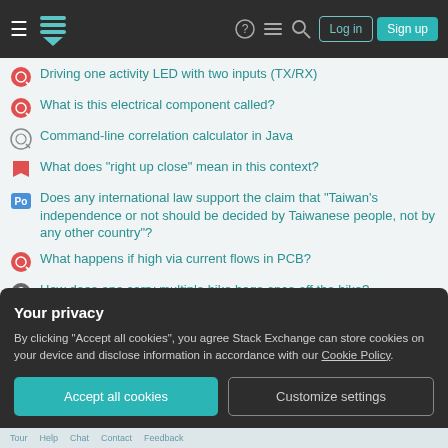Stack Exchange navigation header with Log in and Sign up buttons
Driving one activity LED with two inputs (TX/RX)
What is this electrical component called?
Command-line correlation calculator in Java
What does "right up close" mean in this context?
Does any international law support the claim that "Taiwan's independence or not should be decided by Taiwanese people, not by any other country"?
What happens if high via current flows in PCB?
How does one carry multiple bike bags once off the bike?
Is it safe to drill a cable exit hole in a seatpost?
Your privacy
By clicking "Accept all cookies", you agree Stack Exchange can store cookies on your device and disclose information in accordance with our Cookie Policy.
Tour   Help   Chat   Contact   Feedback